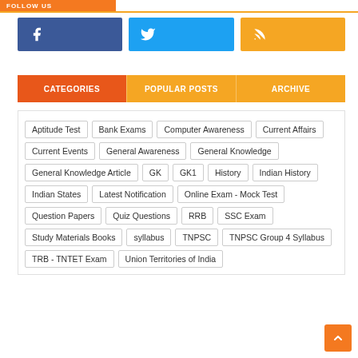FOLLOW US
[Figure (infographic): Three social media buttons: Facebook (dark blue), Twitter (light blue), RSS (orange/yellow)]
CATEGORIES | POPULAR POSTS | ARCHIVE
Aptitude Test
Bank Exams
Computer Awareness
Current Affairs
Current Events
General Awareness
General Knowledge
General Knowledge Article
GK
GK1
History
Indian History
Indian States
Latest Notification
Online Exam - Mock Test
Question Papers
Quiz Questions
RRB
SSC Exam
Study Materials Books
syllabus
TNPSC
TNPSC Group 4 Syllabus
TRB - TNTET Exam
Union Territories of India